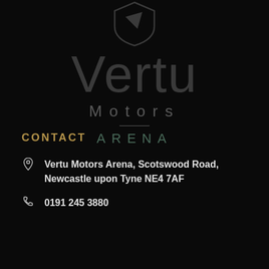[Figure (logo): Vertu Motors Arena shield logo with checkmark/arrow inside, rendered in dark grey on black background]
Vertu
Motors
ARENA
CONTACT
Vertu Motors Arena, Scotswood Road, Newcastle upon Tyne NE4 7AF
0191 245 3880